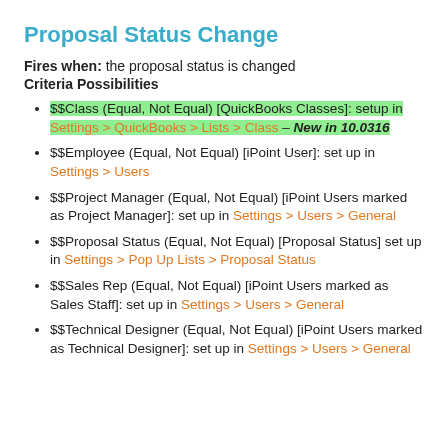Proposal Status Change
Fires when: the proposal status is changed
Criteria Possibilities
$$Class (Equal, Not Equal) [QuickBooks Classes]: setup in Settings > QuickBooks > Lists > Class – New in 10.0316
$$Employee (Equal, Not Equal) [iPoint User]: set up in Settings > Users
$$Project Manager (Equal, Not Equal) [iPoint Users marked as Project Manager]: set up in Settings > Users > General
$$Proposal Status (Equal, Not Equal) [Proposal Status] set up in Settings > Pop Up Lists > Proposal Status
$$Sales Rep (Equal, Not Equal) [iPoint Users marked as Sales Staff]: set up in Settings > Users > General
$$Technical Designer (Equal, Not Equal) [iPoint Users marked as Technical Designer]: set up in Settings > Users > General